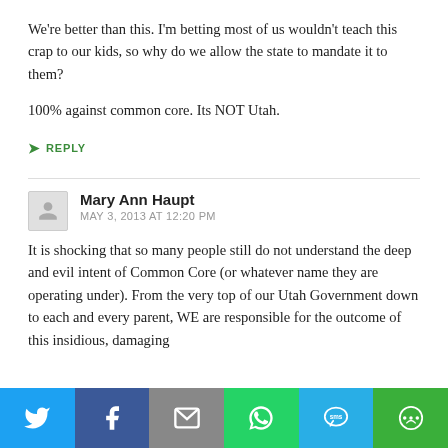We're better than this. I'm betting most of us wouldn't teach this crap to our kids, so why do we allow the state to mandate it to them?
100% against common core. Its NOT Utah.
↪ REPLY
Mary Ann Haupt
MAY 3, 2013 AT 12:20 PM
It is shocking that so many people still do not understand the deep and evil intent of Common Core (or whatever name they are operating under). From the very top of our Utah Government down to each and every parent, WE are responsible for the outcome of this insidious, damaging